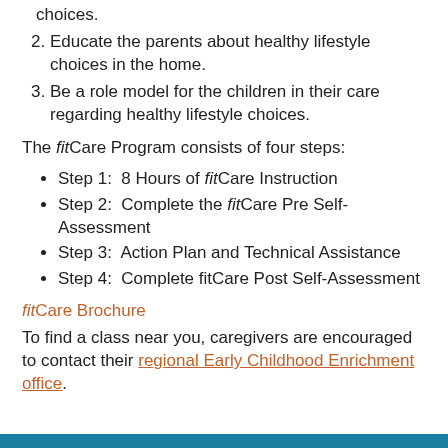choices.
2. Educate the parents about healthy lifestyle choices in the home.
3. Be a role model for the children in their care regarding healthy lifestyle choices.
The fitCare Program consists of four steps:
Step 1:  8 Hours of fitCare Instruction
Step 2:  Complete the fitCare Pre Self-Assessment
Step 3:  Action Plan and Technical Assistance
Step 4:  Complete fitCare Post Self-Assessment
fitCare Brochure
To find a class near you, caregivers are encouraged to contact their regional Early Childhood Enrichment office.